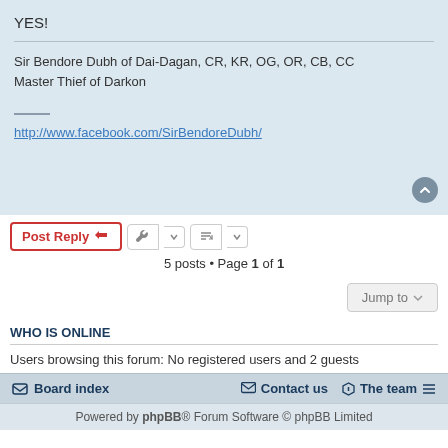YES!
Sir Bendore Dubh of Dai-Dagan, CR, KR, OG, OR, CB, CC
Master Thief of Darkon
http://www.facebook.com/SirBendoreDubh/
5 posts • Page 1 of 1
WHO IS ONLINE
Users browsing this forum: No registered users and 2 guests
Board index   Contact us   The team
Powered by phpBB® Forum Software © phpBB Limited